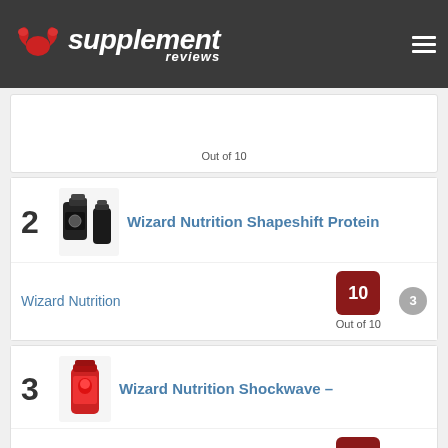[Figure (logo): Supplement Reviews logo with red muscle icon and white italic text on dark grey background]
Out of 10
2
[Figure (photo): Black protein tubs and shaker bottle product image]
Wizard Nutrition Shapeshift Protein
Wizard Nutrition
10
Out of 10
3
3
[Figure (photo): Red container product image for Shockwave]
Wizard Nutrition Shockwave –
Wizard Nutrition
10
Out of 10
4
4
[Figure (photo): Red container product image for Fireblast]
Wizard Nutrition Fireblast